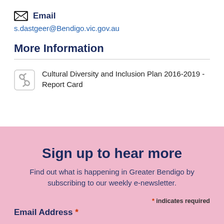✉ Email
s.dastgeer@Bendigo.vic.gov.au
More Information
Cultural Diversity and Inclusion Plan 2016-2019 - Report Card
Sign up to hear more
Find out what is happening in Greater Bendigo by subscribing to our weekly e-newsletter.
* indicates required
Email Address *